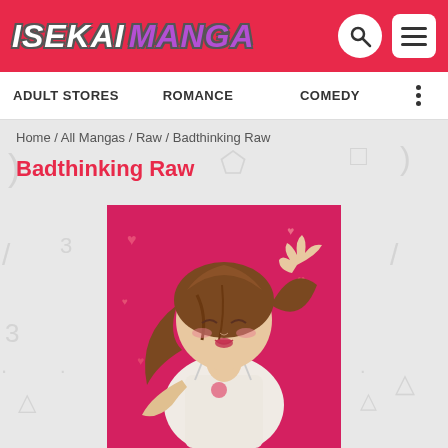ISEKAI MANGA
ADULT STORES   ROMANCE   COMEDY
Home / All Mangas / Raw / Badthinking Raw
Badthinking Raw
[Figure (illustration): Manga cover art for 'Badthinking Raw': an anime-style girl with brown hair lying down against a pink/red background with hearts, wearing a white camisole top, blushing expression.]